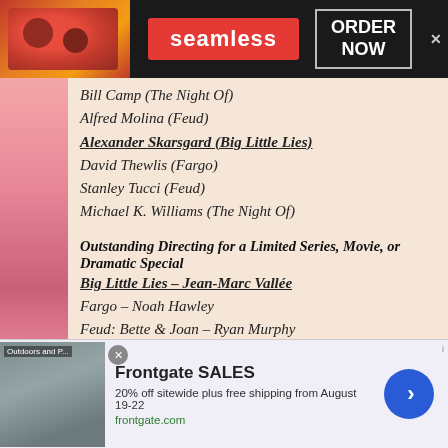[Figure (screenshot): Seamless food delivery advertisement banner with pizza image, red Seamless logo, and ORDER NOW button on dark background]
Bill Camp (The Night Of)
Alfred Molina (Feud)
Alexander Skarsgard (Big Little Lies) [winner - bold underline]
David Thewlis (Fargo)
Stanley Tucci (Feud)
Michael K. Williams (The Night Of)
Outstanding Directing for a Limited Series, Movie, or Dramatic Special
Big Little Lies – Jean-Marc Vallée [winner - bold underline]
Fargo – Noah Hawley
Feud: Bette & Joan – Ryan Murphy
Genius – Ron Howard
The Night Of – James Marsh
The Night Of – Steven Zaillian
Writing for a Limited Series, Movie or Drama…
[Figure (screenshot): Frontgate SALES advertisement: 20% off sitewide plus free shipping from August 19-22, frontgate.com, with outdoor furniture image and blue arrow button]